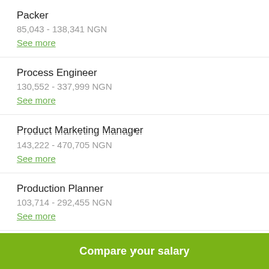Packer
85,043 - 138,341 NGN
See more
Process Engineer
130,552 - 337,999 NGN
See more
Product Marketing Manager
143,222 - 470,705 NGN
See more
Production Planner
103,714 - 292,455 NGN
See more
Compare your salary